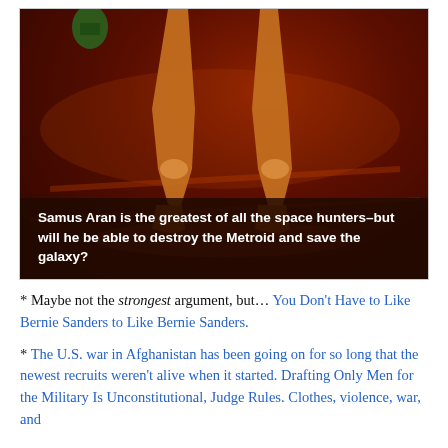[Figure (illustration): Dark fantasy illustration showing the legs of an armored figure (Samus Aran) standing on a reddish, lava-lit landscape. The background is dark red and orange with dramatic atmospheric lighting. Overlaid text at the bottom reads: 'Samus Aran is the greatest of all the space hunters–but will he be able to destroy the Metroid and save the galaxy?']
* Maybe not the strongest argument, but… You Don't Have to Like Bernie Sanders to Like Bernie Sanders.
* The U.S. war in Afghanistan has been going on for so long that the newest recruits weren't alive when it started. Drafting Only Men for the Military Is Unconstitutional, Judge Rules. Clothes, violence, war, and